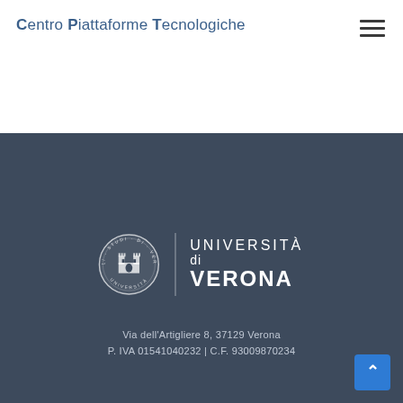Centro Piattaforme Tecnologiche
[Figure (logo): University of Verona logo with circular seal and text UNIVERSITÀ di VERONA]
Via dell'Artigliere 8, 37129 Verona
P. IVA 01541040232 | C.F. 93009870234